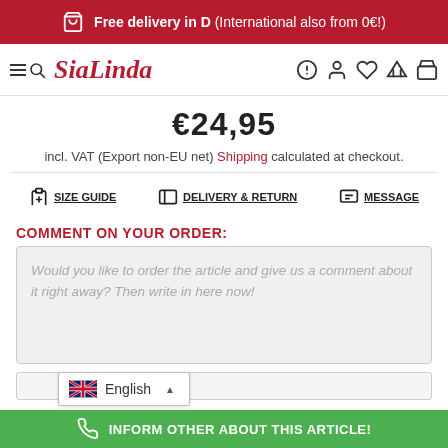Free delivery in D (International also from 0€!)
[Figure (logo): SiaLinda website logo and navigation bar with hamburger menu, search, help, user, wishlist, compare, and cart icons]
€24,95
incl. VAT (Export non-EU net) Shipping calculated at checkout.
SIZE GUIDE   DELIVERY & RETURN   MESSAGE
COMMENT ON YOUR ORDER:
Would you like to order the article and give us a comment about it right away? Then write in here now!
English
INFORM OTHER ABOUT THIS ARTICLE!